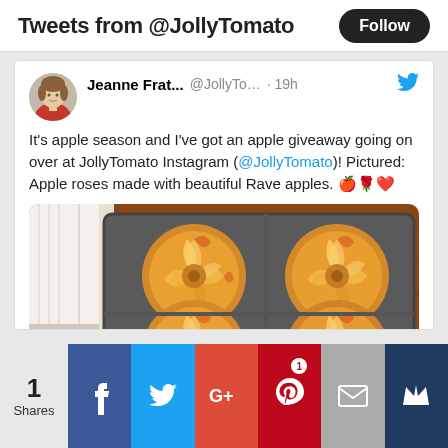Tweets from @JollyTomato  Follow
Jeanne Frat...  @JollyTo...  · 19h
It's apple season and I've got an apple giveaway going on over at JollyTomato Instagram (@JollyTomato)! Pictured: Apple roses made with beautiful Rave apples. 🍎🌹❤️
[Figure (photo): Photo of four apple roses (thinly sliced apples rolled into rose shapes) in a muffin tin, viewed from above on a wooden surface.]
💬 1  ♡ 2
1 Shares  f  🐦  G+  P 1  ✉  👑